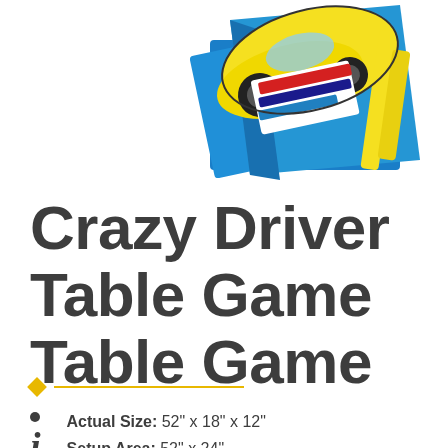[Figure (photo): Product photo of Crazy Driver Table Game — a yellow car-shaped toy with blue box packaging, viewed at an angle from above]
Crazy Driver Table Game Table Game
Actual Size: 52" x 18" x 12"
Setup Area: 52" x 24"
Outlets: 0